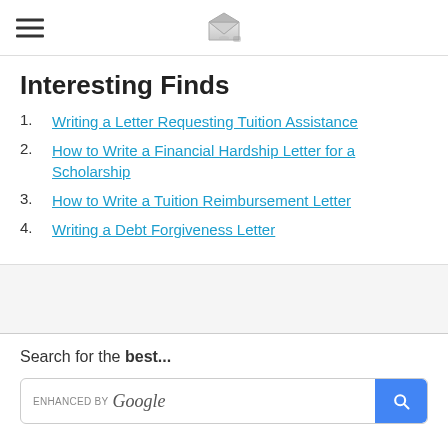[hamburger menu] [envelope logo]
Interesting Finds
1. Writing a Letter Requesting Tuition Assistance
2. How to Write a Financial Hardship Letter for a Scholarship
3. How to Write a Tuition Reimbursement Letter
4. Writing a Debt Forgiveness Letter
Search for the best...